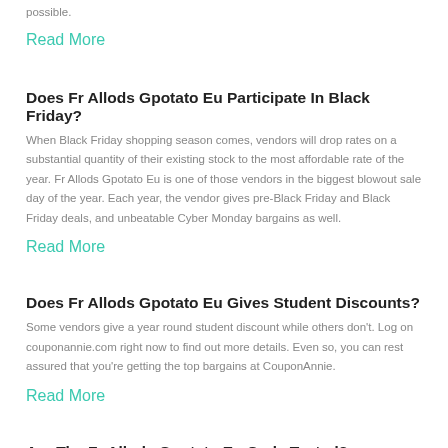possible.
Read More
Does Fr Allods Gpotato Eu Participate In Black Friday?
When Black Friday shopping season comes, vendors will drop rates on a substantial quantity of their existing stock to the most affordable rate of the year. Fr Allods Gpotato Eu is one of those vendors in the biggest blowout sale day of the year. Each year, the vendor gives pre-Black Friday and Black Friday deals, and unbeatable Cyber Monday bargains as well.
Read More
Does Fr Allods Gpotato Eu Gives Student Discounts?
Some vendors give a year round student discount while others don't. Log on couponannie.com right now to find out more details. Even so, you can rest assured that you're getting the top bargains at CouponAnnie.
Read More
Are The Fr Allods Gpotato Eu Code Tested?